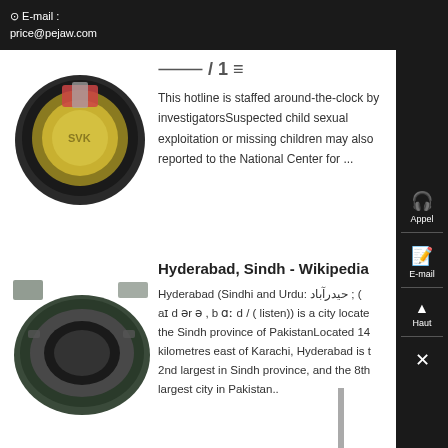⊙ E-mail : price@pejaw.com
[Figure (photo): Circular industrial equipment, appears to be a motor or engine component wrapped in packaging, viewed from above.]
This hotline is staffed around-the-clock by investigatorsSuspected child sexual exploitation or missing children may also reported to the National Center for ...
[Figure (photo): Large circular industrial ring component, possibly a bearing or flange, photographed in a workshop/industrial setting.]
Hyderabad, Sindh - Wikipedia
Hyderabad (Sindhi and Urdu: حیدرآباد ; ( aɪ d ər ə , b ɑː d / ( listen)) is a city located the Sindh province of PakistanLocated 14 kilometres east of Karachi, Hyderabad is the 2nd largest in Sindh province, and the 8th largest city in Pakistan..